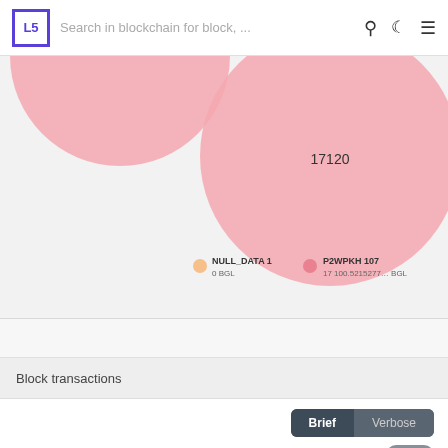Search in blockchain for block, ...
[Figure (bubble-chart): Bubble chart showing two categories: NULL_DATA with 1 item and 0 BGL, and P2WPKH with 107 items and 17100.5215277... BGL. The P2WPKH bubble (pink, labeled 17120) is larger than the NULL_DATA bubble (also pink/peach, partially visible).]
NULL_DATA 1  0 BGL    P2WPKH 107  17 100.5215277… BGL
Block transactions
Brief  Verbose
« 1 2 »